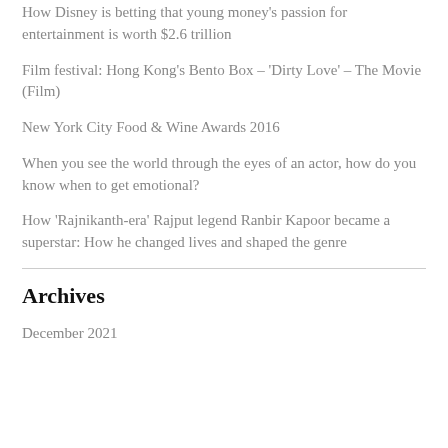How Disney is betting that young money's passion for entertainment is worth $2.6 trillion
Film festival: Hong Kong's Bento Box – 'Dirty Love' – The Movie (Film)
New York City Food & Wine Awards 2016
When you see the world through the eyes of an actor, how do you know when to get emotional?
How 'Rajnikanth-era' Rajput legend Ranbir Kapoor became a superstar: How he changed lives and shaped the genre
Archives
December 2021